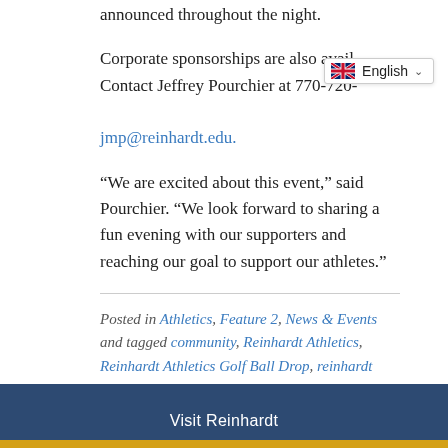announced throughout the night.
Corporate sponsorships are also available. Contact Jeffrey Pourchier at 770-720-[…] jmp@reinhardt.edu.
“We are excited about this event,” said Pourchier. “We look forward to sharing a fun evening with our supporters and reaching our goal to support our athletes.”
Posted in Athletics, Feature 2, News & Events and tagged community, Reinhardt Athletics, Reinhardt Athletics Golf Ball Drop, reinhardt university, Ru_eagles
Visit Reinhardt